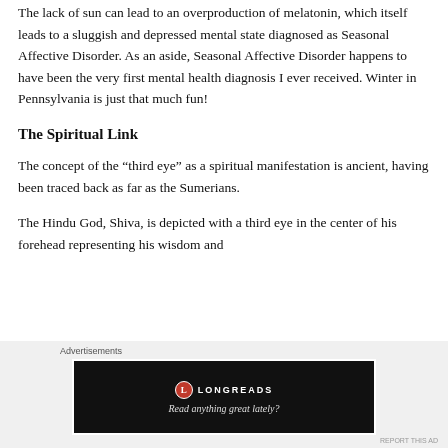The lack of sun can lead to an overproduction of melatonin, which itself leads to a sluggish and depressed mental state diagnosed as Seasonal Affective Disorder. As an aside, Seasonal Affective Disorder happens to have been the very first mental health diagnosis I ever received. Winter in Pennsylvania is just that much fun!
The Spiritual Link
The concept of the “third eye” as a spiritual manifestation is ancient, having been traced back as far as the Sumerians.
The Hindu God, Shiva, is depicted with a third eye in the center of his forehead representing his wisdom and
Advertisements
[Figure (other): Longreads advertisement banner with dark background, Longreads logo and tagline 'Read anything great lately?']